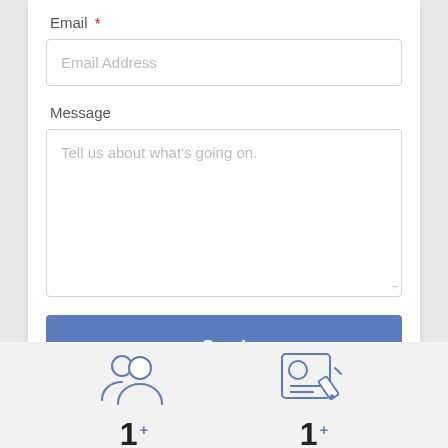Email *
Email Address
Message
Tell us about what's going on.
Send
[Figure (illustration): Two person group/team icon in blue outline style]
[Figure (illustration): Contact/resume card with pencil icon in blue outline style]
1 +
1 +